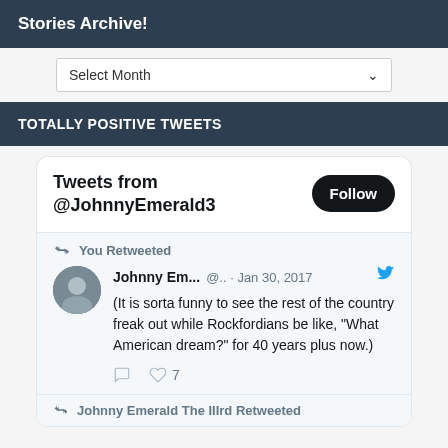Stories Archive!
Select Month
TOTALLY POSITIVE TWEETS
[Figure (screenshot): Embedded Twitter widget showing tweets from @JohnnyEmerald3 with a Follow button. Shows a retweeted post by Johnny Em... dated Jan 30, 2017 with text: (It is sorta funny to see the rest of the country freak out while Rockfordians be like, "What American dream?" for 40 years plus now.) with 7 likes. Below is a partial row showing Johnny Emerald The IIIrd Retweeted.]